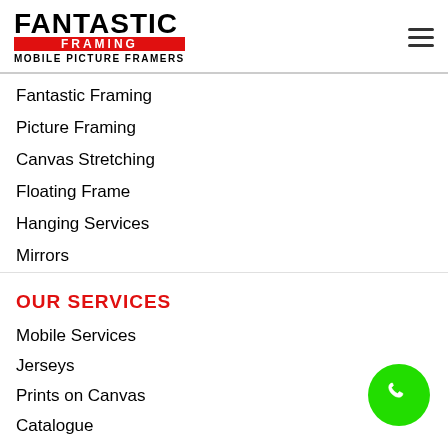[Figure (logo): Fantastic Framing - Mobile Picture Framers logo with red bar]
Fantastic Framing
Picture Framing
Canvas Stretching
Floating Frame
Hanging Services
Mirrors
OUR SERVICES
Mobile Services
Jerseys
Prints on Canvas
Catalogue
Framing FAQ